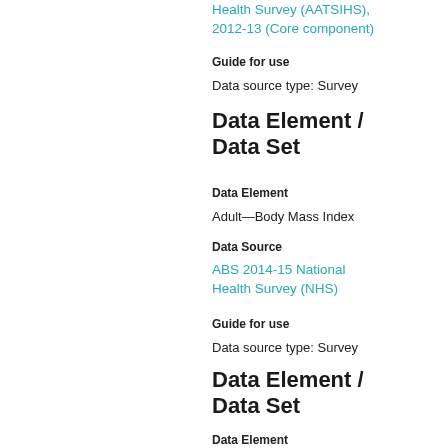Health Survey (AATSIHS), 2012-13 (Core component)
Guide for use
Data source type: Survey
Data Element / Data Set
Data Element
Adult—Body Mass Index
Data Source
ABS 2014-15 National Health Survey (NHS)
Guide for use
Data source type: Survey
Data Element / Data Set
Data Element